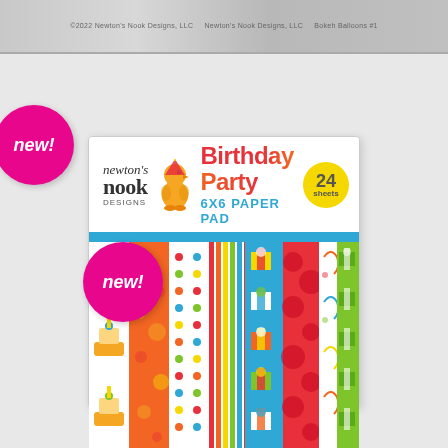[Figure (photo): Gray stamp strip at top showing Newton's Nook Designs LLC copyright and Bokeh Balloons text]
[Figure (photo): Newton's Nook Designs Birthday Party 6x6 Paper Pad product packaging. White box with logo, duck character, Birthday Party title in red, 24 sheets badge in yellow, new! badge in pink, colorful paper pattern samples, and footer text: 24 Sheets • 12 Double-sided Designs, ©2022 Newton's Nook Designs • Made in the USA • www.newtonsnookdesigns.com]